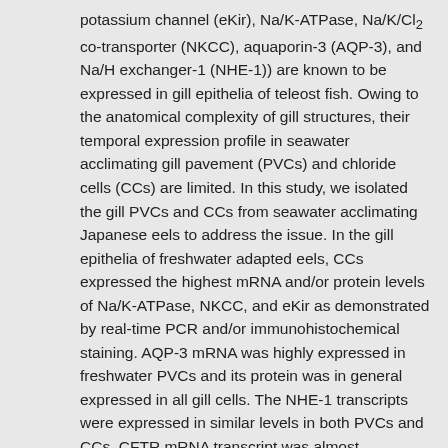potassium channel (eKir), Na/K-ATPase, Na/K/Cl2 co-transporter (NKCC), aquaporin-3 (AQP-3), and Na/H exchanger-1 (NHE-1)) are known to be expressed in gill epithelia of teleost fish. Owing to the anatomical complexity of gill structures, their temporal expression profile in seawater acclimating gill pavement (PVCs) and chloride cells (CCs) are limited. In this study, we isolated the gill PVCs and CCs from seawater acclimating Japanese eels to address the issue. In the gill epithelia of freshwater adapted eels, CCs expressed the highest mRNA and/or protein levels of Na/K-ATPase, NKCC, and eKir as demonstrated by real-time PCR and/or immunohistochemical staining. AQP-3 mRNA was highly expressed in freshwater PVCs and its protein was in general expressed in all gill cells. The NHE-1 transcripts were expressed in similar levels in both PVCs and CCs. CFTR mRNA transcript was almost undetectable in all the freshwater gill cell samples. Seawater acclimation induced the transcript and/or protein levels of Na/K-ATPase, NKCC, CFTR, and eKir in CCs. The upregulation and the